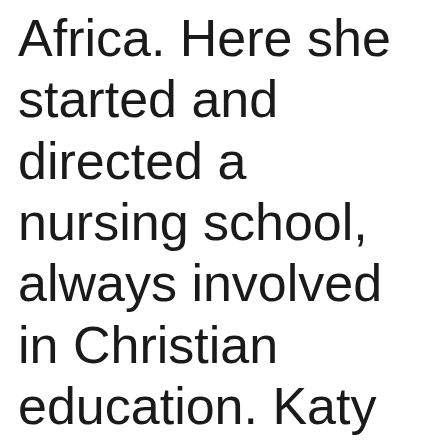Africa. Here she started and directed a nursing school, always involved in Christian education. Katy was not afraid to take on the challenge of directing a 1800 bed government hospital in Kinshasa.

Her work in Africa was in